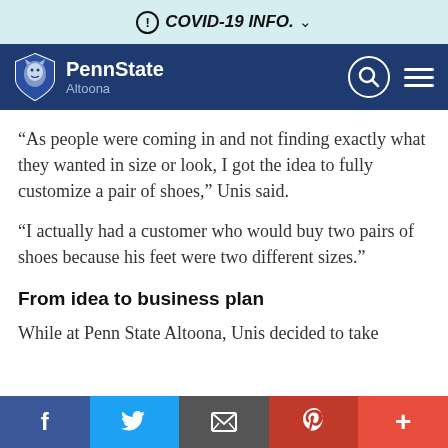COVID-19 INFO.
[Figure (logo): Penn State Altoona navigation bar with logo, search icon, and hamburger menu]
“As people were coming in and not finding exactly what they wanted in size or look, I got the idea to fully customize a pair of shoes,” Unis said.
“I actually had a customer who would buy two pairs of shoes because his feet were two different sizes.”
From idea to business plan
While at Penn State Altoona, Unis decided to take
f  Twitter  Email  Pinterest  +